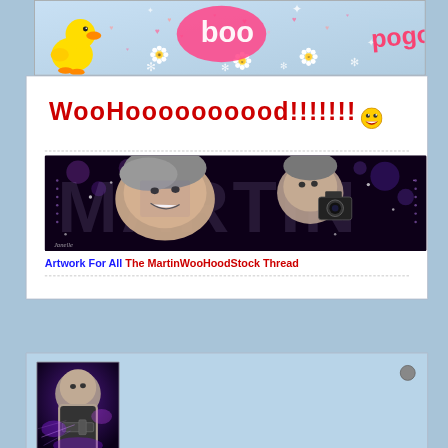[Figure (illustration): Colorful forum banner with cartoon duck, smiley flowers, hearts, and pink/purple text bubbles with 'boo' text on light blue background]
WooHoooooooood!!!!!!!
[Figure (photo): Wide banner image titled MARTIN showing two men's faces with dramatic purple/dark background and sparkle effects, with decorative 'MARTIN' lettering]
Artwork For All The MartinWooHoodStock Thread
[Figure (photo): Forum profile avatar showing a man with a futuristic/sci-fi themed photo with purple light effects and what appears to be a weapon]